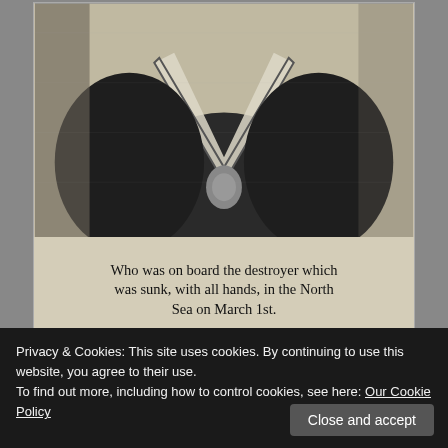[Figure (photo): Black and white newspaper clipping showing a sailor in uniform from chest/torso level, wearing a naval collar and neckerchief. Below the photo is a caption text.]
Who was on board the destroyer which was sunk, with all hands, in the North Sea on March 1st.
Privacy & Cookies: This site uses cookies. By continuing to use this website, you agree to their use.
To find out more, including how to control cookies, see here: Our Cookie Policy